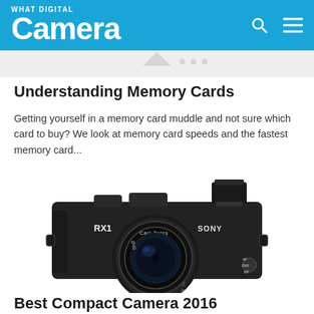What Digital Camera
[Figure (photo): Partial image strip at top of page content area, partially cut off]
Understanding Memory Cards
Getting yourself in a memory card muddle and not sure which card to buy? We look at memory card speeds and the fastest memory card...
[Figure (photo): Sony RX1 compact camera with Carl Zeiss lens and hot shoe viewfinder attachment, black body, front view]
Best Compact Camera 2016